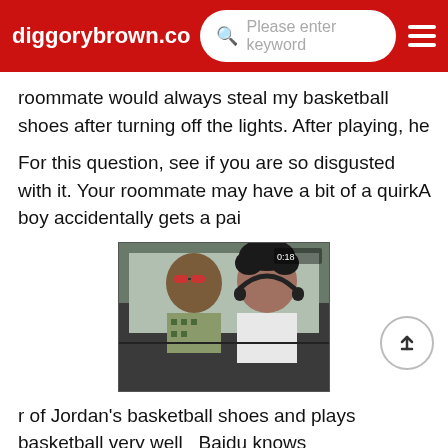diggorybrown.co  Please enter keyword
roommate would always steal my basketball shoes after turning off the lights. After playing, he
For this question, see if you are so disgusted with it. Your roommate may have a bit of a quirkA boy accidentally gets a pai
[Figure (photo): Two people sitting in a car, one wearing sunglasses and a patterned shirt, the other with dark curly hair and headphones around neck.]
r of Jordan's basketball shoes and plays basketball very well_ Baidu knows
Kevin and his friends liv
[Figure (photo): Bottom portion of a figure with red hair, partially visible at bottom of page.]